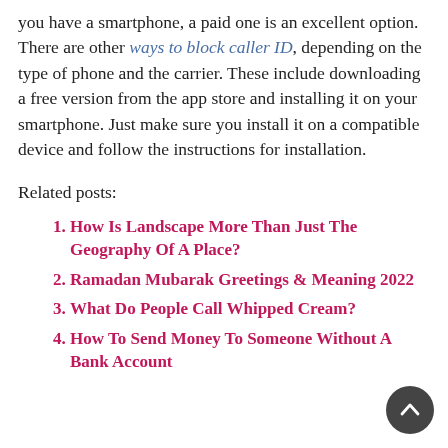you have a smartphone, a paid one is an excellent option. There are other ways to block caller ID, depending on the type of phone and the carrier. These include downloading a free version from the app store and installing it on your smartphone. Just make sure you install it on a compatible device and follow the instructions for installation.
Related posts:
How Is Landscape More Than Just The Geography Of A Place?
Ramadan Mubarak Greetings & Meaning 2022
What Do People Call Whipped Cream?
How To Send Money To Someone Without A Bank Account